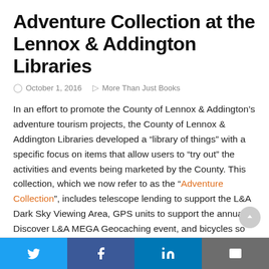Adventure Collection at the Lennox & Addington Libraries
October 1, 2016   More Than Just Books
In an effort to promote the County of Lennox & Addington's adventure tourism projects, the County of Lennox & Addington Libraries developed a “library of things” with a specific focus on items that allow users to “try out” the activities and events being marketed by the County. This collection, which we now refer to as the “Adventure Collection”, includes telescope lending to support the L&A Dark Sky Viewing Area, GPS units to support the annual Discover L&A MEGA Geocaching event, and bicycles so patrons can try out the impressive local trail network. All of the items in this collection are available for patrons to borrow free of charge using their library card.